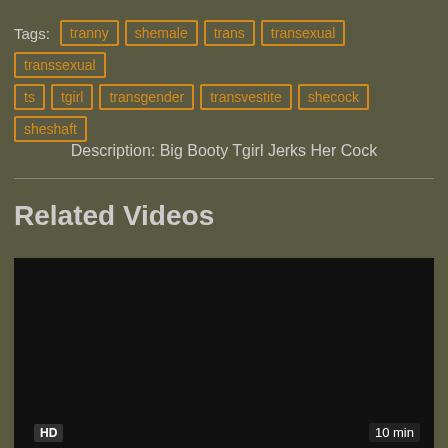Tags: tranny shemale trans transexual transsexual ts tgirl transgender transvestite shecock sheshaft
Description: Big Booty Tgirl Jerks Her Cock
Related Videos
[Figure (screenshot): Dark video thumbnail with HD badge and 10 min duration label]